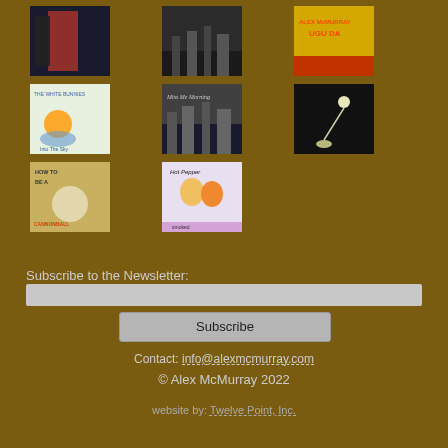[Figure (illustration): Grid of album cover thumbnails arranged in three rows. Row 1: dark cover, dark cityscape cover, yellow/orange Alex McMurray album cover. Row 2: 'The White Bunnies Into The Sky' colorful hot air balloon cover, 'Miss Me Morning' stormy city cover, dark spotlight cover. Row 3: 'How To Be A Cannonball' cover, illustrated cartoon album cover.]
Subscribe to the Newsletter:
Subscribe
Contact: info@alexmcmurray.com
© Alex McMurray 2022
website by: Twelve Point, Inc.